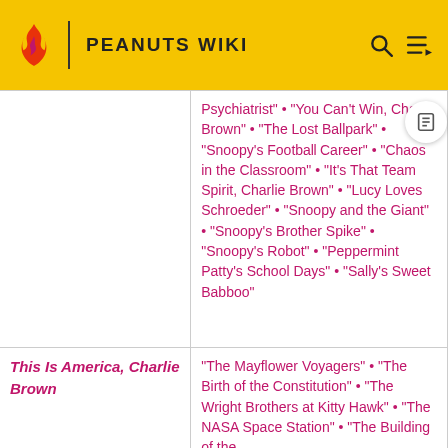PEANUTS WIKI
| Show | Episodes |
| --- | --- |
|  | Psychiatrist" • "You Can't Win, Charlie Brown" • "The Lost Ballpark" • "Snoopy's Football Career" • "Chaos in the Classroom" • "It's That Team Spirit, Charlie Brown" • "Lucy Loves Schroeder" • "Snoopy and the Giant" • "Snoopy's Brother Spike" • "Snoopy's Robot" • "Peppermint Patty's School Days" • "Sally's Sweet Babboo" |
| This Is America, Charlie Brown | "The Mayflower Voyagers" • "The Birth of the Constitution" • "The Wright Brothers at Kitty Hawk" • "The NASA Space Station" • "The Building of the |